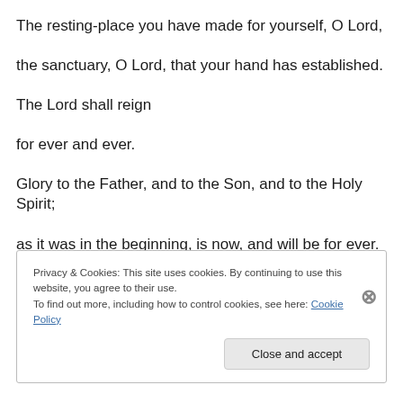The resting-place you have made for yourself, O Lord,
the sanctuary, O Lord, that your hand has established.
The Lord shall reign
for ever and ever.
Glory to the Father, and to the Son, and to the Holy Spirit;
as it was in the beginning, is now, and will be for ever. Amen.
Privacy & Cookies: This site uses cookies. By continuing to use this website, you agree to their use. To find out more, including how to control cookies, see here: Cookie Policy